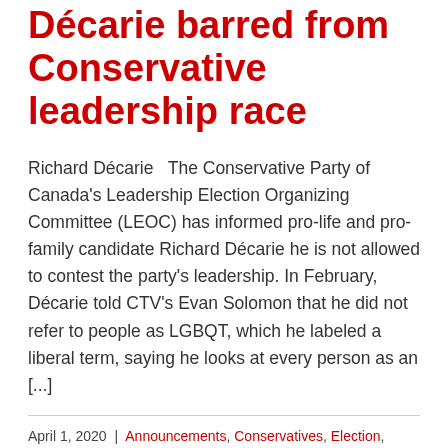Décarie barred from Conservative leadership race
Richard Décarie   The Conservative Party of Canada's Leadership Election Organizing Committee (LEOC) has informed pro-life and pro-family candidate Richard Décarie he is not allowed to contest the party's leadership. In February, Décarie told CTV's Evan Solomon that he did not refer to people as LGBQT, which he labeled a liberal term, saying he looks at every person as an [...]
April 1, 2020 | Announcements, Conservatives, Election, Features, Politics